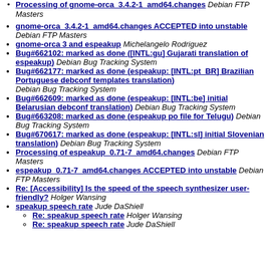Processing of gnome-orca_3.4.2-1_amd64.changes Debian FTP Masters
gnome-orca_3.4.2-1_amd64.changes ACCEPTED into unstable Debian FTP Masters
gnome-orca 3 and espeakup Michelangelo Rodriguez
Bug#662102: marked as done ([INTL:gu] Gujarati translation of espeakup) Debian Bug Tracking System
Bug#662177: marked as done (espeakup: [INTL:pt_BR] Brazilian Portuguese debconf templates translation) Debian Bug Tracking System
Bug#662609: marked as done (espeakup: [INTL:be] initial Belarusian debconf translation) Debian Bug Tracking System
Bug#663208: marked as done (espeakup po file for Telugu) Debian Bug Tracking System
Bug#670617: marked as done (espeakup: [INTL:sl] initial Slovenian translation) Debian Bug Tracking System
Processing of espeakup_0.71-7_amd64.changes Debian FTP Masters
espeakup_0.71-7_amd64.changes ACCEPTED into unstable Debian FTP Masters
Re: [Accessibility] Is the speed of the speech synthesizer user-friendly? Holger Wansing
speakup speech rate Jude DaShiell
Re: speakup speech rate Holger Wansing
Re: speakup speech rate Jude DaShiell